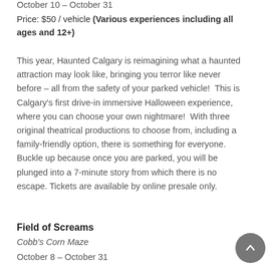October 10 – October 31
Price: $50 / vehicle (Various experiences including all ages and 12+)
This year, Haunted Calgary is reimagining what a haunted attraction may look like, bringing you terror like never before – all from the safety of your parked vehicle!  This is Calgary's first drive-in immersive Halloween experience, where you can choose your own nightmare!  With three original theatrical productions to choose from, including a family-friendly option, there is something for everyone.  Buckle up because once you are parked, you will be plunged into a 7-minute story from which there is no escape. Tickets are available by online presale only.
Field of Screams
Cobb's Corn Maze
October 8 – October 31